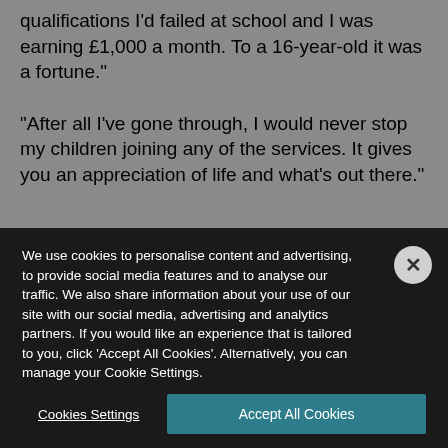qualifications I'd failed at school and I was earning £1,000 a month. To a 16-year-old it was a fortune."

"After all I've gone through, I would never stop my children joining any of the services. It gives you an appreciation of life and what's out there."
[Figure (photo): Partial view of a photograph, dark blue/grey tones, partially obscured by cookie consent overlay]
We use cookies to personalise content and advertising, to provide social media features and to analyse our traffic. We also share information about your use of our site with our social media, advertising and analytics partners. If you would like an experience that is tailored to you, click 'Accept All Cookies'. Alternatively, you can manage your Cookie Settings.
Cookies Settings
Accept All Cookies